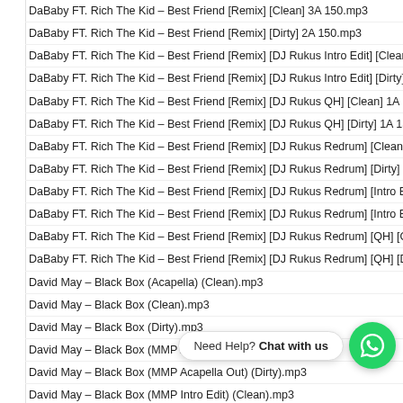DaBaby FT. Rich The Kid – Best Friend [Remix] [Clean] 3A 150.mp3
DaBaby FT. Rich The Kid – Best Friend [Remix] [Dirty] 2A 150.mp3
DaBaby FT. Rich The Kid – Best Friend [Remix] [DJ Rukus Intro Edit] [Clean] 1A 15…
DaBaby FT. Rich The Kid – Best Friend [Remix] [DJ Rukus Intro Edit] [Dirty] 1A 15…
DaBaby FT. Rich The Kid – Best Friend [Remix] [DJ Rukus QH] [Clean] 1A 150.mp…
DaBaby FT. Rich The Kid – Best Friend [Remix] [DJ Rukus QH] [Dirty] 1A 150.mp3
DaBaby FT. Rich The Kid – Best Friend [Remix] [DJ Rukus Redrum] [Clean] 1A 15…
DaBaby FT. Rich The Kid – Best Friend [Remix] [DJ Rukus Redrum] [Dirty] 2A 150…
DaBaby FT. Rich The Kid – Best Friend [Remix] [DJ Rukus Redrum] [Intro Edit] [Cl…
DaBaby FT. Rich The Kid – Best Friend [Remix] [DJ Rukus Redrum] [Intro Edit] [Di…
DaBaby FT. Rich The Kid – Best Friend [Remix] [DJ Rukus Redrum] [QH] [Clean] 1…
DaBaby FT. Rich The Kid – Best Friend [Remix] [DJ Rukus Redrum] [QH] [Dirty] 1A…
David May – Black Box (Acapella) (Clean).mp3
David May – Black Box (Clean).mp3
David May – Black Box (Dirty).mp3
David May – Black Box (MMP Acapella Out) (Clean).mp3
David May – Black Box (MMP Acapella Out) (Dirty).mp3
David May – Black Box (MMP Intro Edit) (Clean).mp3
David May – Black Box (MMP Intro Edit) (Dirty).mp3
David May – Black Box (MMP QuickHitter) (Clean).mp3
David May – Black Box (MMP QuickHitter) (Dirty).mp3
David May – Black Box [Acapel…
David May – Black Box [Clean] 4A 160.mp3
David May – Black Box [Dirty] 4A 160.mp3
David May – Black Box [MMP Acapella Out] [Clean] 4A 160.mp3